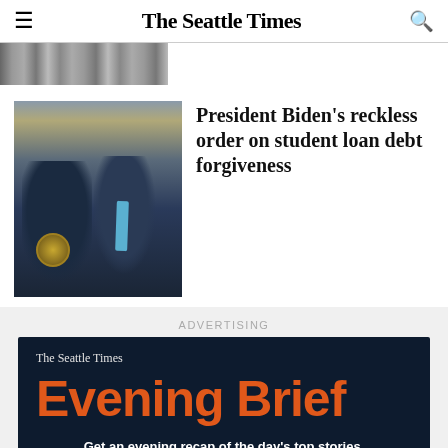The Seattle Times
[Figure (photo): Cropped news photo strip at top of page showing people, partially visible]
[Figure (photo): Photo of President Biden at podium with another person standing beside him in a suit with blue tie, in what appears to be a formal government room]
President Biden’s reckless order on student loan debt forgiveness
ADVERTISING
[Figure (advertisement): The Seattle Times Evening Brief advertisement on dark navy background. Large orange text reads Evening Brief. White bold text: Get an evening recap of the day’s top stories. Gray text: Sign up for our free Evening Brief newsletter.]